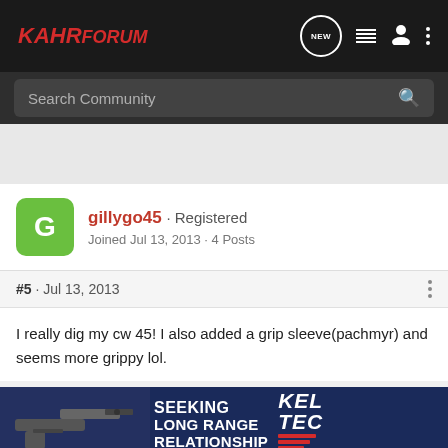[Figure (screenshot): Kahr Forum navigation bar with logo, NEW chat icon, list icon, person icon, and three-dots menu icon on dark background]
Search Community
gillygo45 · Registered
Joined Jul 13, 2013 · 4 Posts
#5 · Jul 13, 2013
I really dig my cw 45! I also added a grip sleeve(pachmyr) and seems more grippy lol.
[Figure (photo): Kel-Tec advertisement banner: SEEKING LONG RANGE RELATIONSHIP - THE CP33 PISTOL, with gun image on dark blue background]